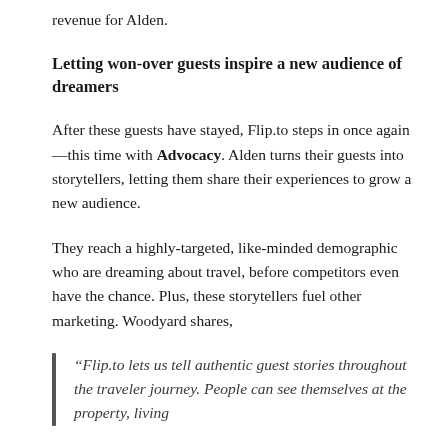revenue for Alden.
Letting won-over guests inspire a new audience of dreamers
After these guests have stayed, Flip.to steps in once again—this time with Advocacy. Alden turns their guests into storytellers, letting them share their experiences to grow a new audience.
They reach a highly-targeted, like-minded demographic who are dreaming about travel, before competitors even have the chance. Plus, these storytellers fuel other marketing. Woodyard shares,
“Flip.to lets us tell authentic guest stories throughout the traveler journey. People can see themselves at the property, living